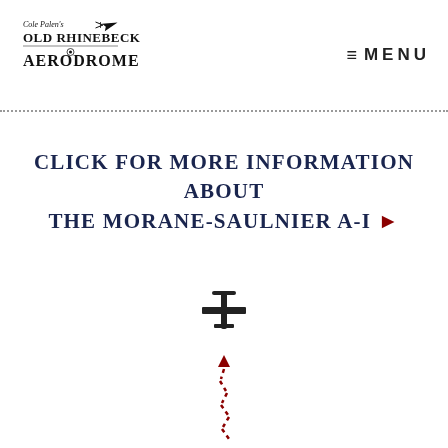Cole Palen's Old Rhinebeck Aerodrome | MENU
CLICK FOR MORE INFORMATION ABOUT THE MORANE-SAULNIER A-I ▶
[Figure (illustration): Small black airplane icon viewed from above, with a red dotted arrow curving downward below it, indicating movement or direction]